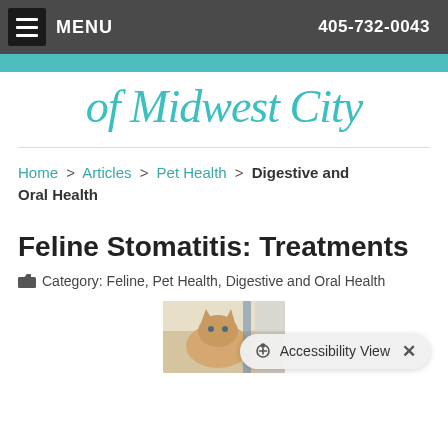MENU  405-732-0043
of Midwest City
Home > Articles > Pet Health > Digestive and Oral Health
Feline Stomatitis: Treatments
Category: Feline, Pet Health, Digestive and Oral Health
[Figure (photo): Photo of an orange/tabby cat, partially visible, cropped at bottom of page]
Accessibility View ×